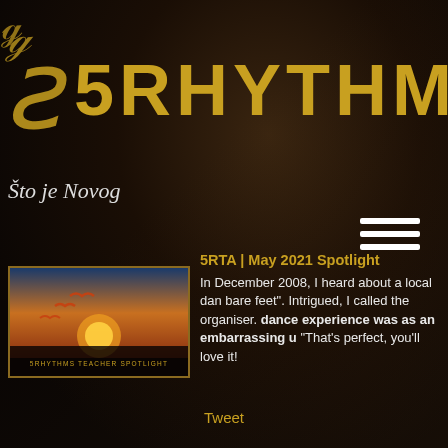[Figure (logo): 5Rhythms logo with golden stylized symbol and text '5RHYTHMS' on dark background]
Što je Novog
[Figure (photo): Thumbnail image showing orange birds flying at sunset with '5RHYTHMS TEACHER SPOTLIGHT' label at bottom]
5RTA | May 2021 Spotlight
In December 2008, I heard about a local dan bare feet". Intrigued, I called the organiser. V dance experience was as an embarrassing u "That's perfect, you'll love it!
Tweet